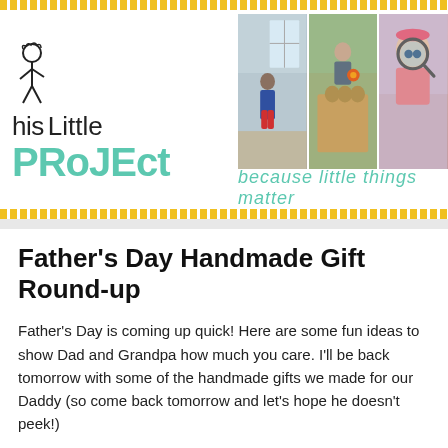[Figure (illustration): Blog header banner for 'This Little Project' with stick figure logo on the left, three children's activity photos on the right, yellow dotted borders top and bottom, and teal tagline 'because little things matter']
Father's Day Handmade Gift Round-up
Father's Day is coming up quick! Here are some fun ideas to show Dad and Grandpa how much you care.  I'll be back tomorrow with some of the handmade gifts we made for our Daddy (so come back tomorrow and let's hope he doesn't peek!)
Let's be honest here: Guys are harder to shop for than Gals.  The coupon idea really gets used a lot on Father's Day.